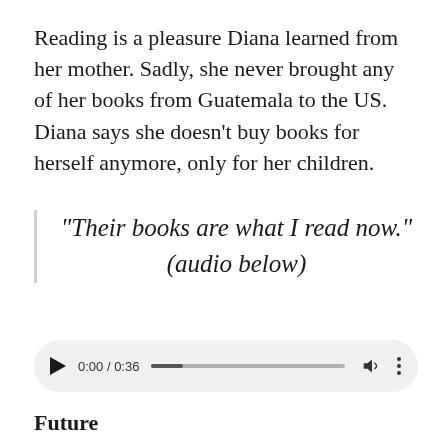Reading is a pleasure Diana learned from her mother. Sadly, she never brought any of her books from Guatemala to the US. Diana says she doesn't buy books for herself anymore, only for her children.
“Their books are what I read now.” (audio below)
[Figure (other): Audio player widget showing 0:00 / 0:36 with play button, progress bar, volume icon, and more options icon.]
Future